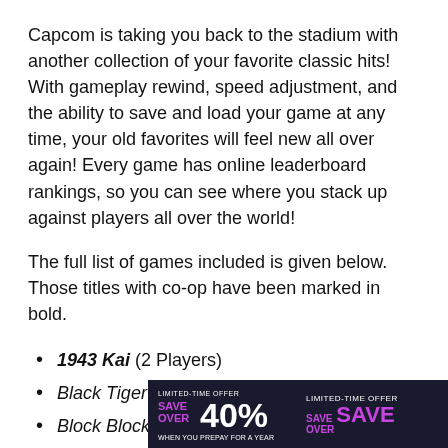Capcom is taking you back to the stadium with another collection of your favorite classic hits! With gameplay rewind, speed adjustment, and the ability to save and load your game at any time, your old favorites will feel new all over again! Every game has online leaderboard rankings, so you can see where you stack up against players all over the world!
The full list of games included is given below. Those titles with co-op have been marked in bold.
1943 Kai (2 Players)
Black Tiger
Block Block
Capcom Sports Club
Darkstalkers: The Night Warriors
Eco...
Gun...
[Figure (other): HBO Max advertisement banner: Limited-time offer Save Over 40% when you prepay for a year, with Sign Up Now button]